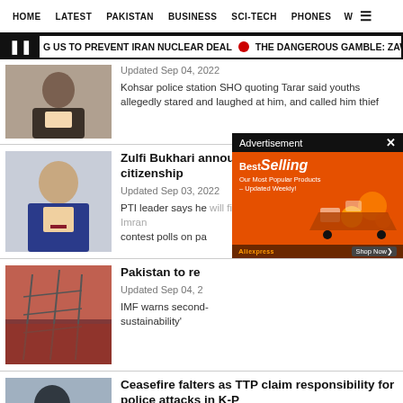HOME   LATEST   PAKISTAN   BUSINESS   SCI-TECH   PHONES   W ☰
G US TO PREVENT IRAN NUCLEAR DEAL  ●  THE DANGEROUS GAMBLE: ZAWAHIRI'S
Updated Sep 04, 2022
Kohsar police station SHO quoting Tarar said youths allegedly stared and laughed at him, and called him thief
Zulfi Bukhari announces renouncing British citizenship
Updated Sep 03, 2022
PTI leader says he will fight for 'real freedom' alongside Imran contest polls on pa
Pakistan to re
Updated Sep 04, 2
IMF warns second-sustainability'
Ceasefire falters as TTP claim responsibility for police attacks in K-P
Updated Sep 03, 2022